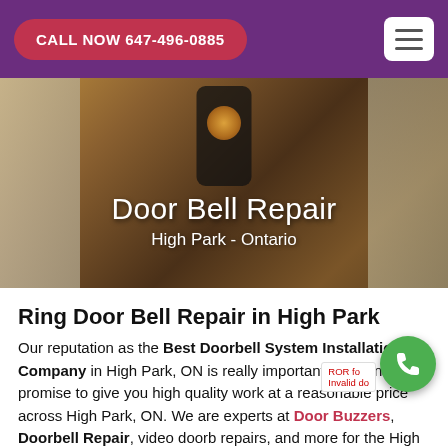CALL NOW 647-496-0885
[Figure (photo): Photo of a doorbell device mounted on a wall, with overlay text 'Door Bell Repair' and subtitle 'High Park - Ontario']
Door Bell Repair
High Park - Ontario
Ring Door Bell Repair in High Park
Our reputation as the Best Doorbell System Installation Company in High Park, ON is really important to us and we promise to give you high quality work at a reasonable price across High Park, ON. We are experts at Door Buzzers, Doorbell Repair, video doorbell repairs, and more for the High Park area. Tell us about your Ring doorbell installation needs in High Park, and we will get right back to you